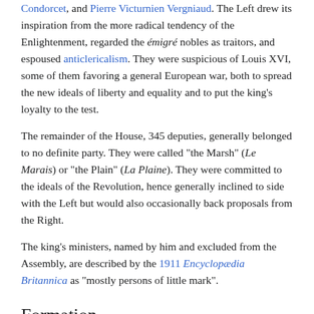Condorcet, and Pierre Victurnien Vergniaud. The Left drew its inspiration from the more radical tendency of the Enlightenment, regarded the émigré nobles as traitors, and espoused anticlericalism. They were suspicious of Louis XVI, some of them favoring a general European war, both to spread the new ideals of liberty and equality and to put the king's loyalty to the test.
The remainder of the House, 345 deputies, generally belonged to no definite party. They were called "the Marsh" (Le Marais) or "the Plain" (La Plaine). They were committed to the ideals of the Revolution, hence generally inclined to side with the Left but would also occasionally back proposals from the Right.
The king's ministers, named by him and excluded from the Assembly, are described by the 1911 Encyclopædia Britannica as "mostly persons of little mark".
Formation
For a detailed description of the proceedings of the Legislative Assembly and related events, see The Legislative Assembly and the fall of the French monarchy.